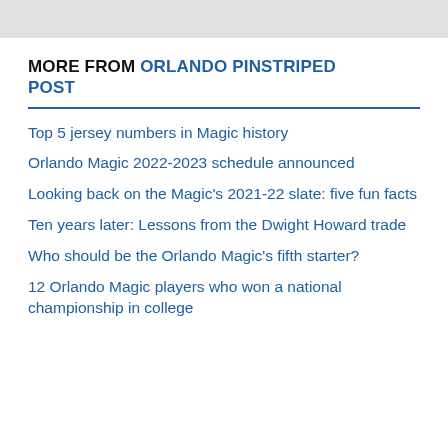[Figure (photo): Gray image/photo bar at top of page]
MORE FROM ORLANDO PINSTRIPED POST
Top 5 jersey numbers in Magic history
Orlando Magic 2022-2023 schedule announced
Looking back on the Magic's 2021-22 slate: five fun facts
Ten years later: Lessons from the Dwight Howard trade
Who should be the Orlando Magic's fifth starter?
12 Orlando Magic players who won a national championship in college